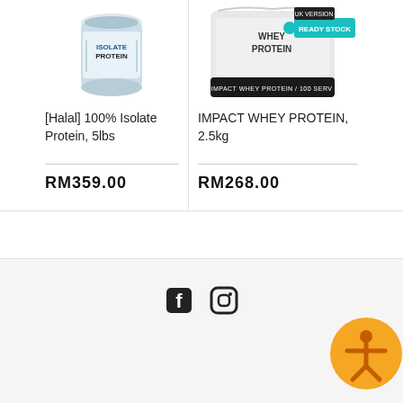[Figure (photo): Product image of [Halal] 100% Isolate Protein, 5lbs container]
[Halal] 100% Isolate Protein, 5lbs
RM359.00
[Figure (photo): Product image of Impact Whey Protein 2.5kg bag with READY STOCK banner and UK Version label]
IMPACT WHEY PROTEIN, 2.5kg
RM268.00
[Figure (other): Social media icons: Facebook and Instagram icons in footer area]
[Figure (other): Accessibility widget: orange circle with person/gingerbread man icon]